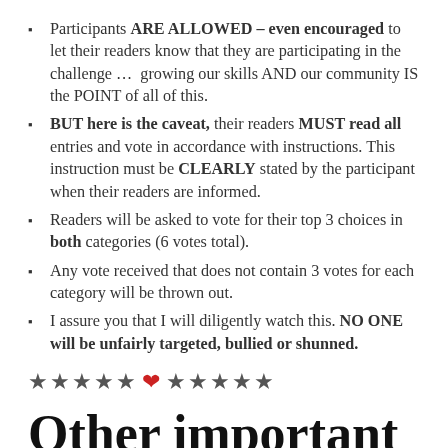Participants ARE ALLOWED – even encouraged to let their readers know that they are participating in the challenge …  growing our skills AND our community IS the POINT of all of this.
BUT here is the caveat, their readers MUST read all entries and vote in accordance with instructions. This instruction must be CLEARLY stated by the participant when their readers are informed.
Readers will be asked to vote for their top 3 choices in both categories (6 votes total).
Any vote received that does not contain 3 votes for each category will be thrown out.
I assure you that I will diligently watch this. NO ONE will be unfairly targeted, bullied or shunned.
★★★★★ ❤ ★★★★★
Other important